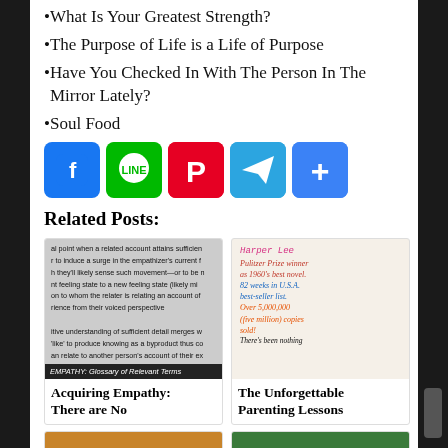What Is Your Greatest Strength?
The Purpose of Life is a Life of Purpose
Have You Checked In With The Person In The Mirror Lately?
Soul Food
[Figure (infographic): Social sharing buttons: Facebook (blue), LINE (green circle), Pinterest (red), Telegram (blue), Share/More (blue with plus)]
Related Posts:
[Figure (screenshot): Text page about empathy glossary with dark bar reading 'EMPATHY: Glossary of Relevant Terms']
Acquiring Empathy: There are No
[Figure (photo): Handwritten book promotion for Harper Lee's To Kill a Mockingbird: Pulitzer Prize winner as 1960's best novel. 82 weeks in U.S.A. best-seller list. Over 5,000,000 (five million) copies sold! There's been nothing...]
The Unforgettable Parenting Lessons